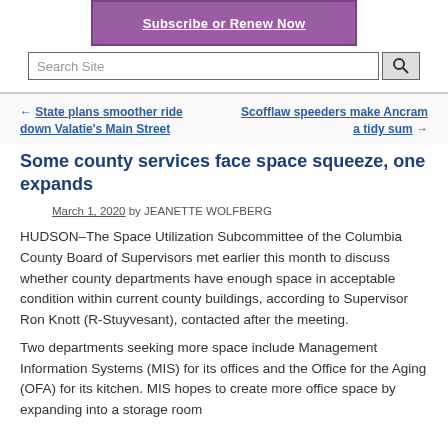[Figure (screenshot): Purple banner with white underlined bold text 'Subscribe or Renew Now']
[Figure (screenshot): Search site input field with magnifying glass button]
← State plans smoother ride down Valatie's Main Street
Scofflaw speeders make Ancram a tidy sum →
Some county services face space squeeze, one expands
March 1, 2020 by JEANETTE WOLFBERG
HUDSON–The Space Utilization Subcommittee of the Columbia County Board of Supervisors met earlier this month to discuss whether county departments have enough space in acceptable condition within current county buildings, according to Supervisor Ron Knott (R-Stuyvesant), contacted after the meeting.
Two departments seeking more space include Management Information Systems (MIS) for its offices and the Office for the Aging (OFA) for its kitchen. MIS hopes to create more office space by expanding into a storage room